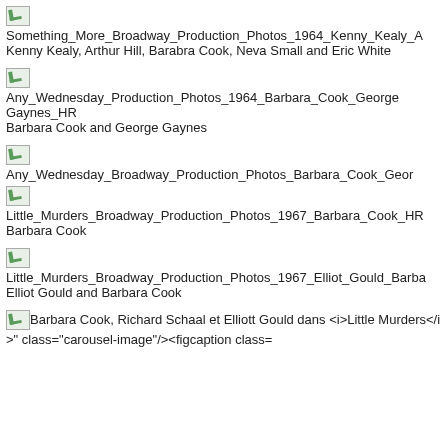[Figure (photo): Broken image placeholder]
Something_More_Broadway_Production_Photos_1964_Kenny_Kealy_A
Kenny Kealy, Arthur Hill, Barabra Cook, Neva Small and Eric White
[Figure (photo): Broken image placeholder]
Any_Wednesday_Production_Photos_1964_Barbara_Cook_George_Gaynes_HR
Barbara Cook and George Gaynes
[Figure (photo): Broken image placeholder]
Any_Wednesday_Broadway_Production_Photos_Barbara_Cook_Geor
[Figure (photo): Broken image placeholder]
Little_Murders_Broadway_Production_Photos_1967_Barbara_Cook_HR
Barbara Cook
[Figure (photo): Broken image placeholder]
Little_Murders_Broadway_Production_Photos_1967_Elliot_Gould_Barba
Elliot Gould and Barbara Cook
[Figure (photo): Broken image placeholder]
Barbara Cook, Richard Schaal et Elliott Gould dans <i>Little Murders</i>" class="carousel-image"/><figcaption class=